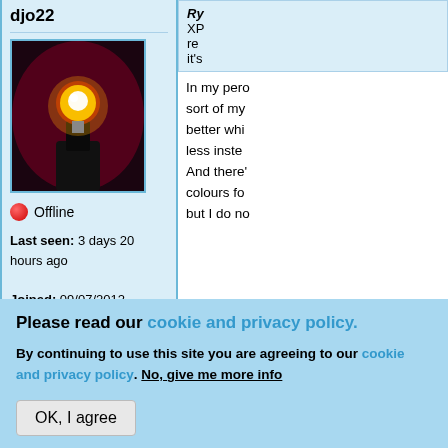djo22
[Figure (photo): Profile avatar photo showing a glowing light bulb against a red/dark background]
Offline
Last seen: 3 days 20 hours ago
Joined: 09/07/2012 - 17:04
Posts: 18284
Location: Amsterdam
Ry... XP... re... it's...
In my pero sort of my better whi less inste And there colours fo but I do no
Please read our cookie and privacy policy.
By continuing to use this site you are agreeing to our cookie and privacy policy. No, give me more info
OK, I agree